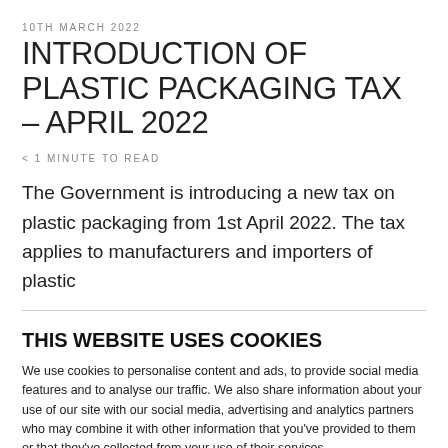10TH MARCH 2022
INTRODUCTION OF PLASTIC PACKAGING TAX – APRIL 2022
< 1 MINUTE TO READ
The Government is introducing a new tax on plastic packaging from 1st April 2022. The tax applies to manufacturers and importers of plastic
THIS WEBSITE USES COOKIES
We use cookies to personalise content and ads, to provide social media features and to analyse our traffic. We also share information about your use of our site with our social media, advertising and analytics partners who may combine it with other information that you've provided to them or that they've collected from your use of their services.
Deny | Allow selection | Allow all
Necessary  Preferences  Statistics  Marketing  Show details